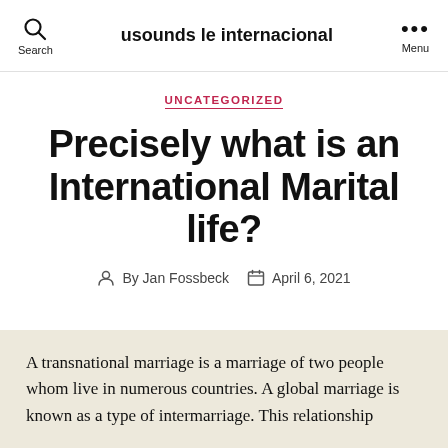usounds le internacional
UNCATEGORIZED
Precisely what is an International Marital life?
By Jan Fossbeck   April 6, 2021
A transnational marriage is a marriage of two people whom live in numerous countries. A global marriage is known as a type of intermarriage. This relationship